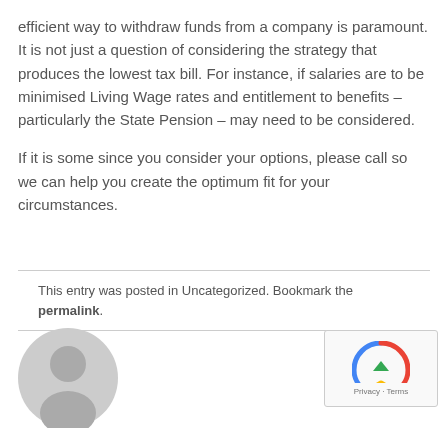efficient way to withdraw funds from a company is paramount. It is not just a question of considering the strategy that produces the lowest tax bill. For instance, if salaries are to be minimised Living Wage rates and entitlement to benefits – particularly the State Pension – may need to be considered.
If it is some since you consider your options, please call so we can help you create the optimum fit for your circumstances.
This entry was posted in Uncategorized. Bookmark the permalink.
[Figure (illustration): Generic user avatar icon — grey silhouette of a person in a circle.]